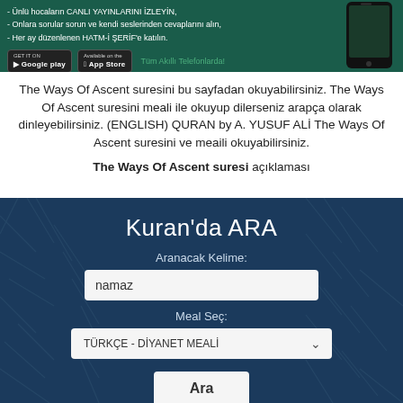[Figure (screenshot): Green banner with Islamic app advertisement showing text about live lessons, questions, and Hatm-i Serif participation, with Google Play and App Store download buttons and a mobile phone image]
The Ways Of Ascent suresini bu sayfadan okuyabilirsiniz. The Ways Of Ascent suresini meali ile okuyup dilerseniz arapça olarak dinleyebilirsiniz. (ENGLISH) QURAN by A. YUSUF ALI The Ways Of Ascent suresini ve meaili okuyabilirsiniz.
The Ways Of Ascent suresi açıklaması
Kuran'da ARA
Aranacak Kelime:
namaz
Meal Seç:
TÜRKÇE - DİYANET MEALİ
Ara